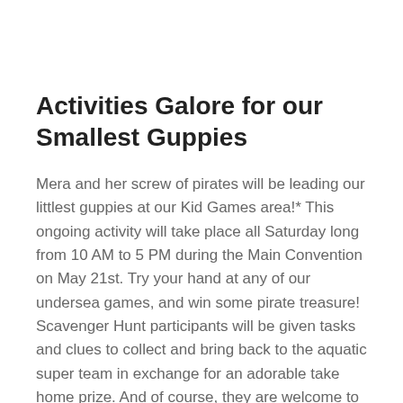Activities Galore for our Smallest Guppies
Mera and her screw of pirates will be leading our littlest guppies at our Kid Games area!* This ongoing activity will take place all Saturday long from 10 AM to 5 PM during the Main Convention on May 21st. Try your hand at any of our undersea games, and win some pirate treasure! Scavenger Hunt participants will be given tasks and clues to collect and bring back to the aquatic super team in exchange for an adorable take home prize. And of course, they are welcome to snap a photo with